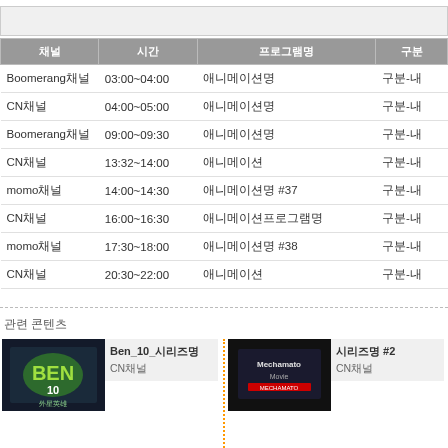| 채널 | 시간 | 프로그램명 | 구분 |
| --- | --- | --- | --- |
| Boomerang채널 | 03:00~04:00 | 애니메이션명 | 구분-내 |
| CN채널 | 04:00~05:00 | 애니메이션명 | 구분-내 |
| Boomerang채널 | 09:00~09:30 | 애니메이션명 | 구분-내 |
| CN채널 | 13:32~14:00 | 애니메이션 | 구분-내 |
| momo채널 | 14:00~14:30 | 애니메이션명 #37 | 구분-내 |
| CN채널 | 16:00~16:30 | 애니메이션프로그램명 | 구분-내 |
| momo채널 | 17:30~18:00 | 애니메이션명 #38 | 구분-내 |
| CN채널 | 20:30~22:00 | 애니메이션 | 구분-내 |
관련 콘텐츠
[Figure (photo): Ben 10 animated series cover image with green logo]
Ben_10_시리즈명
CN채널
[Figure (photo): Mechamato movie poster]
시리즈명 #2
CN채널
[Figure (photo): Green animated character image]